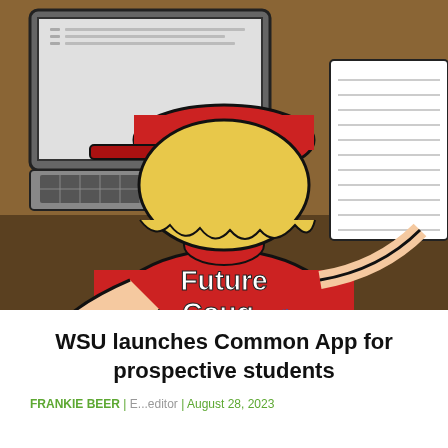[Figure (illustration): Cartoon illustration of a student seen from behind, wearing a red 'Future Coug' WSU t-shirt and red cap, sitting at a laptop with a book open beside them, holding a computer mouse.]
WSU launches Common App for prospective students
FRANKIE BEER | ... | August 28, 2023
As man...